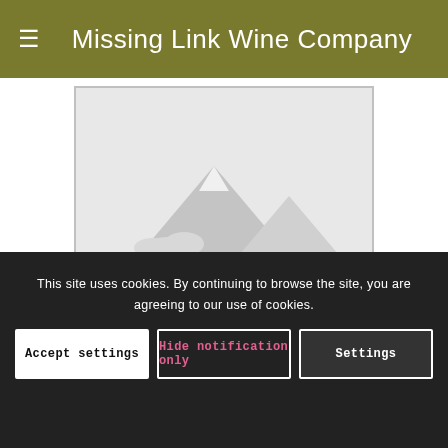Missing Link Wine Company
[Figure (photo): Placeholder product image with mountain/landscape silhouette icon in grey tones]
Envideacochina Albariño Tête de Cuvée
This site uses cookies. By continuing to browse the site, you are agreeing to our use of cookies.